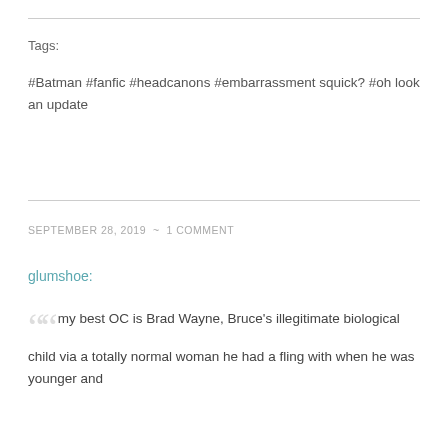Tags:
#Batman #fanfic #headcanons #embarrassment squick? #oh look an update
SEPTEMBER 28, 2019 ~ 1 COMMENT
glumshoe:
my best OC is Brad Wayne, Bruce's illegitimate biological child via a totally normal woman he had a fling with when he was younger and